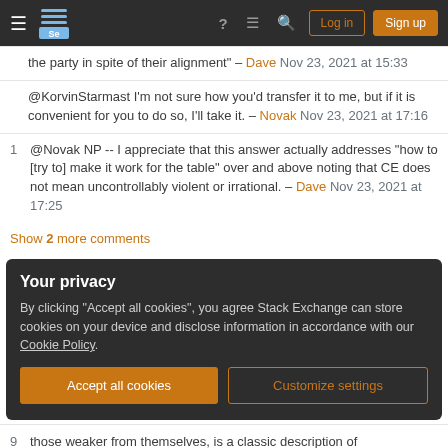Stack Exchange navigation bar with hamburger menu, logo, help, chat, search icons, Log in and Sign up buttons
the party in spite of their alignment" – Dave Nov 23, 2021 at 15:33
@KorvinStarmast I'm not sure how you'd transfer it to me, but if it is convenient for you to do so, I'll take it. – Novak Nov 23, 2021 at 17:16
@Novak NP -- I appreciate that this answer actually addresses "how to [try to] make it work for the table" over and above noting that CE does not mean uncontrollably violent or irrational. – Dave Nov 23, 2021 at 17:25
Show 2 more comments
Your privacy
By clicking "Accept all cookies", you agree Stack Exchange can store cookies on your device and disclose information in accordance with our Cookie Policy.
Accept all cookies
Customize settings
those weaker from themselves, is a classic description of